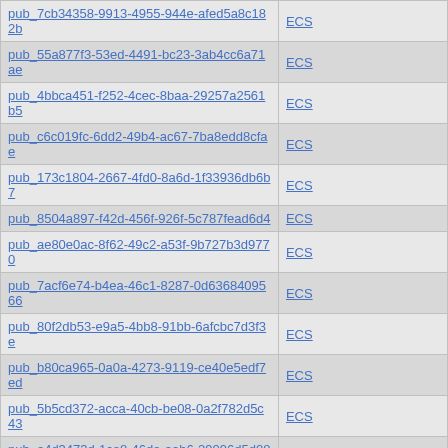| pub_id | type |
| --- | --- |
| pub_7cb34358-9913-4955-944e-afed5a8c182b | ECS |
| pub_55a877f3-53ed-4491-bc23-3ab4cc6a71ae | ECS |
| pub_4bbca451-f252-4cec-8baa-29257a2561b5 | ECS |
| pub_c6c019fc-6dd2-49b4-ac67-7ba8edd8cfae | ECS |
| pub_173c1804-2667-4fd0-8a6d-1f33936db6b7 | ECS |
| pub_8504a897-f42d-456f-926f-5c787fead6d4 | ECS |
| pub_ae80e0ac-8f62-49c2-a53f-9b727b3d9770 | ECS |
| pub_7acf6e74-b4ea-46c1-8287-0d6368409566 | ECS |
| pub_80f2db53-e9a5-4bb8-91bb-6afcbc7d3f3e | ECS |
| pub_b80ca965-0a0a-4273-9119-ce40e5edf7ed | ECS |
| pub_5b5cd372-acca-40cb-be08-0a2f782d5c43 | ECS |
| pub_a4d3473d-1ce8-46da-aab6-29096d5d087f | ECS |
| pub_8b99b3ef-bf24-4e57-9d6d-ae71014bf6a0 | To Be Filled By O.E.M. |
| pub_75245fa4-a454-4124-a72a-8a4433770dcb | ECS |
| pub_8a12af7d-753e-4fd7-8076-… | To Be Filled By O.E.M.… |